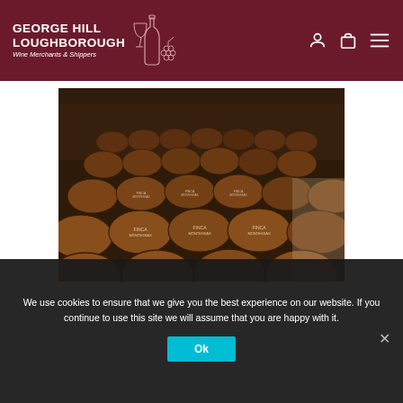GEORGE HILL LOUGHBOROUGH Wine Merchants & Shippers
[Figure (photo): Rows of wine barrels/casks stacked in a large winery warehouse, viewed from a perspective angle showing many rows receding into the background.]
We use cookies to ensure that we give you the best experience on our website. If you continue to use this site we will assume that you are happy with it.